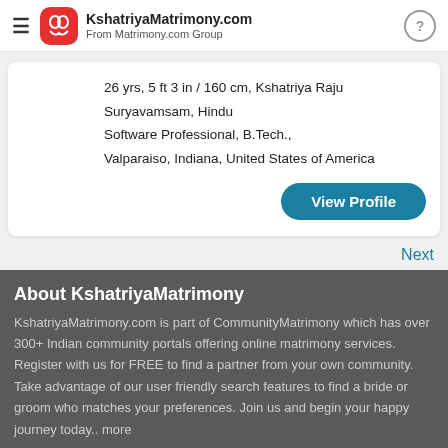KshatriyaMatrimony.com From Matrimony.com Group
26 yrs, 5 ft 3 in / 160 cm, Kshatriya Raju Suryavamsam, Hindu
Software Professional, B.Tech.,
Valparaiso, Indiana, United States of America
View Profile
Next
About KshatriyaMatrimony
KshatriyaMatrimony.com is part of CommunityMatrimony which has over 300+ Indian community portals offering online matrimony services. Register with us for FREE to find a partner from your own community. Take advantage of our user friendly search features to find a bride or groom who matches your preferences. Join us and begin your happy journey today.. more »